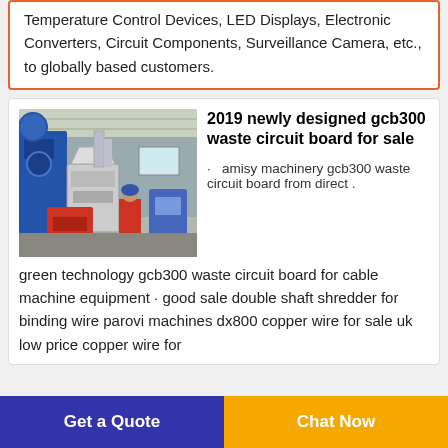Temperature Control Devices, LED Displays, Electronic Converters, Circuit Components, Surveillance Camera, etc., to globally based customers.
[Figure (photo): Industrial machinery facility showing a waste circuit board recycling machine (gcb300), with blue and red equipment, metal pipes, and a worker in a red uniform inside a factory building.]
2019 newly designed gcb300 waste circuit board for sale
· amisy machinery gcb300 waste circuit board from direct .
green technology gcb300 waste circuit board for cable machine equipment · good sale double shaft shredder for binding wire parovi machines dx800 copper wire for sale uk low price copper wire for
Get a Quote
Chat Now